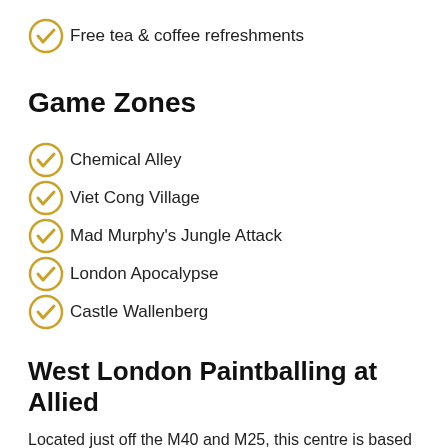Free tea & coffee refreshments
Game Zones
Chemical Alley
Viet Cong Village
Mad Murphy's Jungle Attack
London Apocalypse
Castle Wallenberg
West London Paintballing at Allied
Located just off the M40 and M25, this centre is based in the county of Buckinghamshire – making it ideal for players visiting from nearby High Wycombe, Uxbridge and Maidenhead.